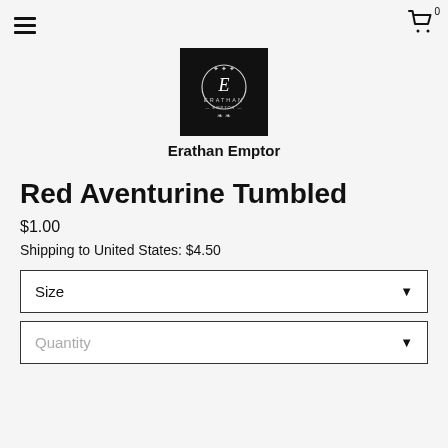≡  [cart icon] 0
[Figure (logo): Erathan Emptor brand logo — black square with ornate circular emblem and text 'ERATHAN EMPTOR']
Erathan Emptor
Red Aventurine Tumbled
$1.00
Shipping to United States: $4.50
Size
Quantity